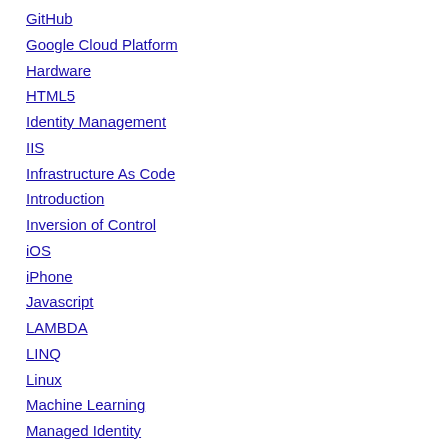GitHub
Google Cloud Platform
Hardware
HTML5
Identity Management
IIS
Infrastructure As Code
Introduction
Inversion of Control
iOS
iPhone
Javascript
LAMBDA
LINQ
Linux
Machine Learning
Managed Identity
Message Broker
Message Queue